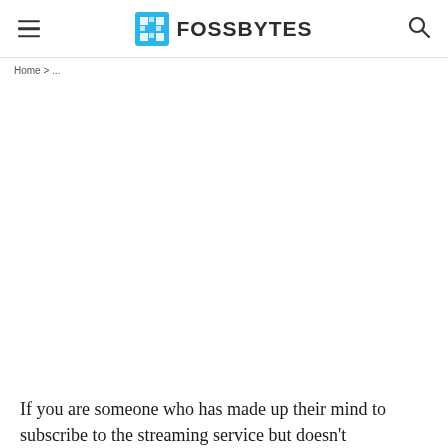FOSSBYTES
If you are someone who has made up their mind to subscribe to the streaming service but doesn't